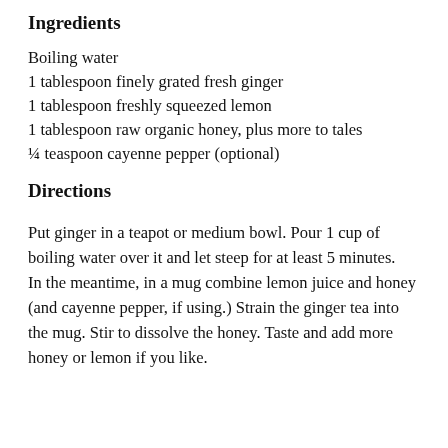Ingredients
Boiling water
1 tablespoon finely grated fresh ginger
1 tablespoon freshly squeezed lemon
1 tablespoon raw organic honey, plus more to tales
¼ teaspoon cayenne pepper (optional)
Directions
Put ginger in a teapot or medium bowl. Pour 1 cup of boiling water over it and let steep for at least 5 minutes. In the meantime, in a mug combine lemon juice and honey (and cayenne pepper, if using.) Strain the ginger tea into the mug. Stir to dissolve the honey. Taste and add more honey or lemon if you like.